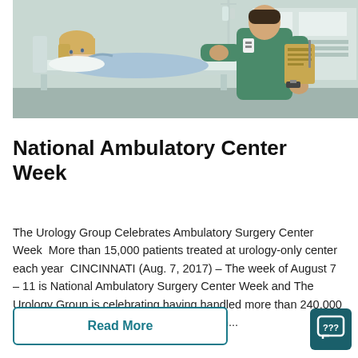[Figure (photo): Hospital room scene showing a female patient lying in a hospital bed wearing a light blue gown, with a male healthcare provider in green scrubs standing beside her holding a clipboard and pen.]
National Ambulatory Center Week
The Urology Group Celebrates Ambulatory Surgery Center Week  More than 15,000 patients treated at urology-only center each year  CINCINNATI (Aug. 7, 2017) – The week of August 7 – 11 is National Ambulatory Surgery Center Week and The Urology Group is celebrating having handled more than 240,000 cases since it opened its surgery center in...